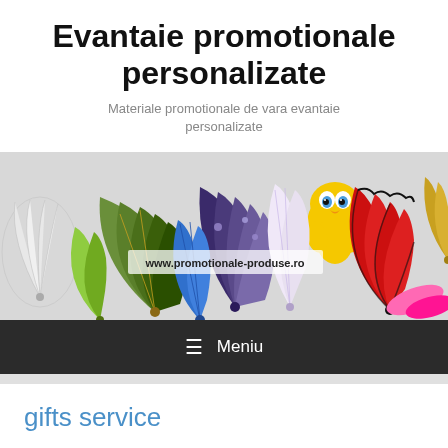Evantaie promotionale personalizate
Materiale promotionale de vara evantaie personalizate
[Figure (photo): Banner image showing various decorative and promotional fans including folding fans in different colors and styles, with website watermark www.promotionale-produse.ro]
≡  Meniu
gifts service